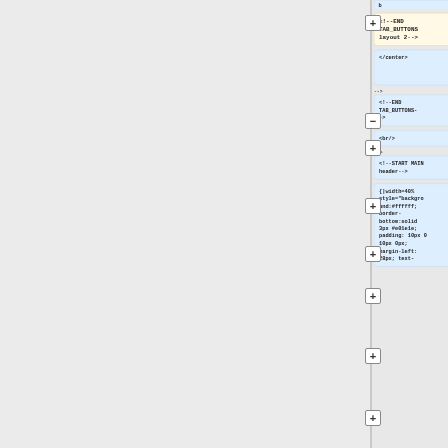[Figure (screenshot): Screenshot of a visual diff/tree editor showing code nodes. Left side is a grey empty area. Right side shows several rounded-rectangle cards in a vertical list. Top card (partially cut off, blue): 'b'. Second card (yellow, with minus button): '<!--END TAB_BUTTONS layout 2-->'. Third card (blue, with plus button): '</center>'. Fourth card (blue, with plus button): '<!--END TAB_BUTTONS-->'. Fifth card (blue, with plus button): '<br/>'. Sixth card (blue, with plus button): '<!--START MAIN header-->'. Seventh card (blue, partially cut off at bottom, with plus button): '{|width=40% style="background:#ffffff; border-bottom:solid 3px #e01e1e; padding: 10px 0 10px 0px; margin-left: 28px; text-'.]